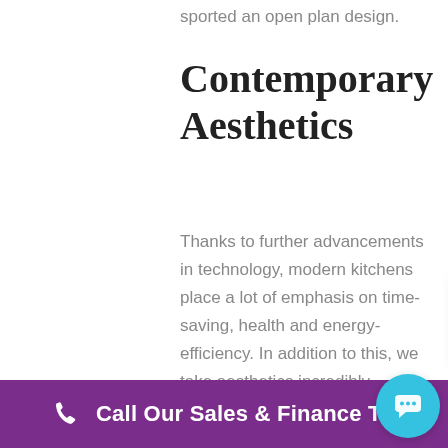sported an open plan design.
Contemporary Aesthetics
Thanks to further advancements in technology, modern kitchens place a lot of emphasis on time-saving, health and energy-efficiency. In addition to this, we take aesthetics incredibly serio… the 'heart of t… popular placed… which means that homeowners take great pride in its design.
Hi there, I'm Paul, I'm here to help you.
Call Our Sales & Finance Team